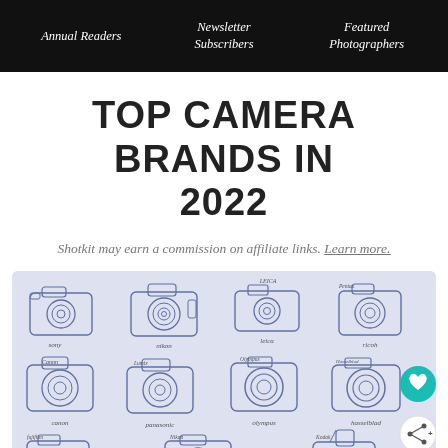Annual Readers | Newsletter Subscribers | Featured Photographers
TOP CAMERA BRANDS IN 2022
Shotkit may earn a commission on affiliate links. Learn more.
[Figure (illustration): Grid illustration of camera brand line-drawings on a lavender/periwinkle background. Row 1: sony, nikon, leica, ricoh. Row 2: canon, panasonic, olympus, hasselblad. Row 3 (partial): fujifilm, nikon (partial), kodak (partial). Teal heart FAB button and white share FAB button visible on right.]